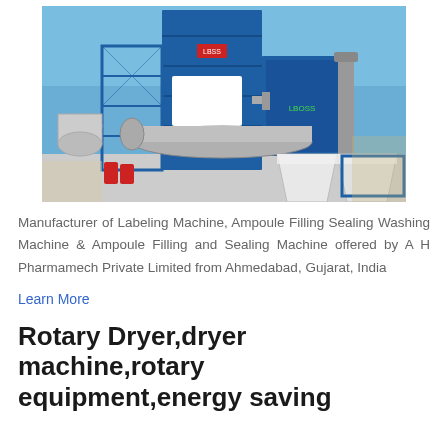[Figure (photo): Outdoor industrial plant with blue steel framework, rotary dryer drum, dust collector, and aggregate bins on a sunny day]
Manufacturer of Labeling Machine, Ampoule Filling Sealing Washing Machine & Ampoule Filling and Sealing Machine offered by A H Pharmamech Private Limited from Ahmedabad, Gujarat, India
Learn More
Rotary Dryer,dryer machine,rotary equipment,energy saving